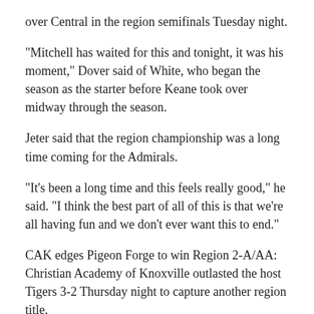over Central in the region semifinals Tuesday night.
“Mitchell has waited for this and tonight, it was his moment,” Dover said of White, who began the season as the starter before Keane took over midway through the season.
Jeter said that the region championship was a long time coming for the Admirals.
“It’s been a long time and this feels really good,” he said. “I think the best part of all of this is that we’re all having fun and we don’t ever want this to end.”
CAK edges Pigeon Forge to win Region 2-A/AA: Christian Academy of Knoxville outlasted the host Tigers 3-2 Thursday night to capture another region title.